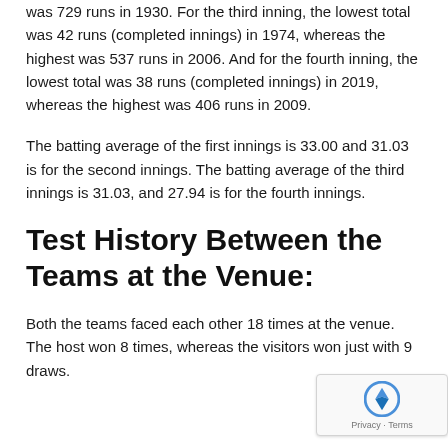was 729 runs in 1930. For the third inning, the lowest total was 42 runs (completed innings) in 1974, whereas the highest was 537 runs in 2006. And for the fourth inning, the lowest total was 38 runs (completed innings) in 2019, whereas the highest was 406 runs in 2009.
The batting average of the first innings is 33.00 and 31.03 is for the second innings. The batting average of the third innings is 31.03, and 27.94 is for the fourth innings.
Test History Between the Teams at the Venue:
Both the teams faced each other 18 times at the venue. The host won 8 times, whereas the visitors won just with 9 draws.